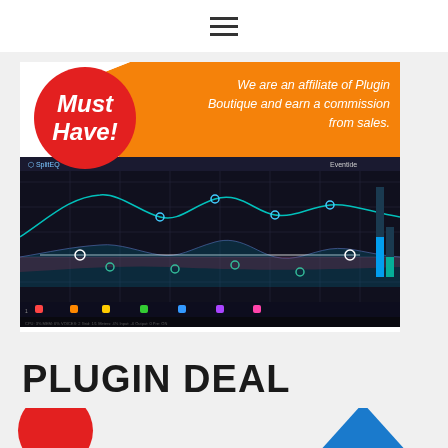☰
[Figure (screenshot): Audio plugin interface screenshot showing Eventide SplitEQ equalizer plugin with frequency bands displayed as a waveform graph on dark background, with a 'Must Have!' red circle badge and orange affiliate disclosure text reading 'We are an affiliate of Plugin Boutique and earn a commission from sales.']
PLUGIN DEAL